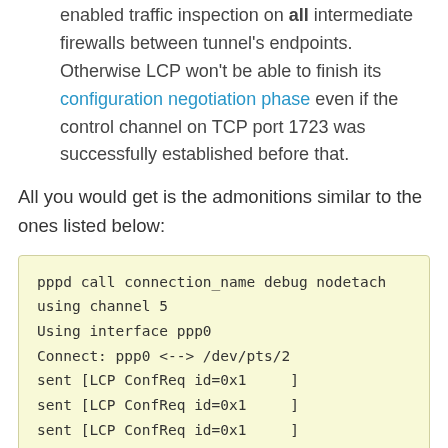enabled traffic inspection on all intermediate firewalls between tunnel's endpoints. Otherwise LCP won't be able to finish its configuration negotiation phase even if the control channel on TCP port 1723 was successfully established before that.
All you would get is the admonitions similar to the ones listed below:
pppd call connection_name debug nodetach
using channel 5
Using interface ppp0
Connect: ppp0 <--> /dev/pts/2
sent [LCP ConfReq id=0x1     ]
sent [LCP ConfReq id=0x1     ]
sent [LCP ConfReq id=0x1     ]
sent [LCP ConfReq id=0x1     ]